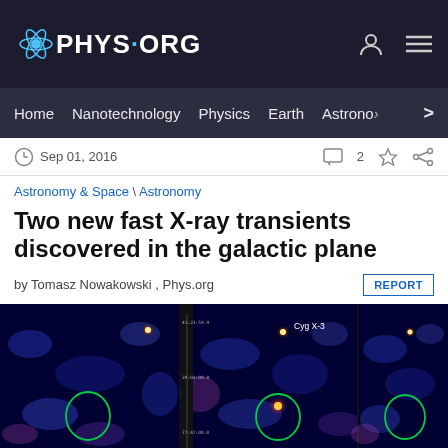PHYS.ORG
Home | Nanotechnology | Physics | Earth | Astronomy >
Sep 01, 2016  [comment icon] 2 [star] [share]
Astronomy & Space \ Astronomy
Two new fast X-ray transients discovered in the galactic plane
by Tomasz Nowakowski , Phys.org
[Figure (photo): Three side-by-side X-ray astronomical images showing the galactic plane. Images show blue-purple diffuse X-ray background with bright point sources. Green circles highlight X-ray transient sources. Center panel shows 'Cyg X-3' label. Images appear to be from an X-ray space telescope.]